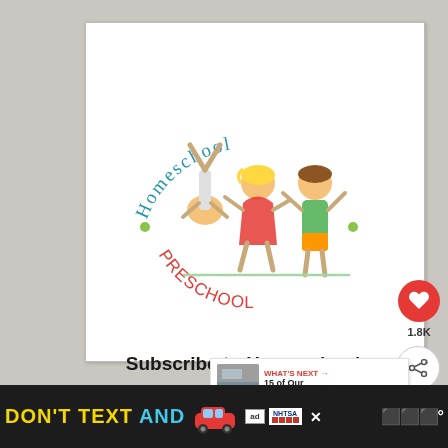[Figure (logo): Homeschool Preschool circular logo with cartoon children — one doing a handstand, one girl in red dancing, one boy in green with arms raised. 'Homeschool' text arcs across the top in blue handwritten letters; 'Preschool' text arcs across the bottom in red upside-down letters, forming a circle.]
Subscribe to Homeschool Preschool!
[Figure (infographic): WHAT'S NEXT arrow label in red with thumbnail image and text '15 of Our Favorite Gh...']
[Figure (infographic): Ad banner at bottom: DON'T TEXT AND (drive/car icon) with NHTSA logo and ad indicator]